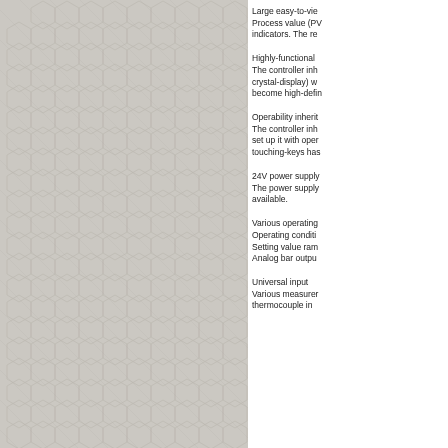[Figure (illustration): Left two-thirds of the page showing a hexagonal textured pattern background in light grey/beige tones with diagonal line overlay creating a woven honeycomb visual effect.]
Large easy-to-view Process value (PV indicators. The re
Highly-functional The controller inh crystal-display) w become high-defin
Operability inherit The controller inh set up it with oper touching-keys has
24V power supply The power supply available.
Various operating Operating conditi Setting value ram Analog bar outpu
Universal input Various measurer thermocouple in